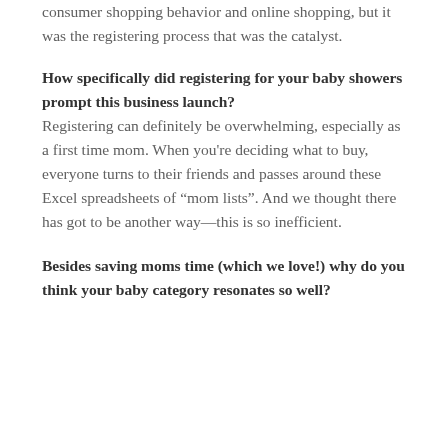consumer shopping behavior and online shopping, but it was the registering process that was the catalyst.
How specifically did registering for your baby showers prompt this business launch?
Registering can definitely be overwhelming, especially as a first time mom. When you're deciding what to buy, everyone turns to their friends and passes around these Excel spreadsheets of “mom lists”. And we thought there has got to be another way—this is so inefficient.
Besides saving moms time (which we love!) why do you think your baby category resonates so well?